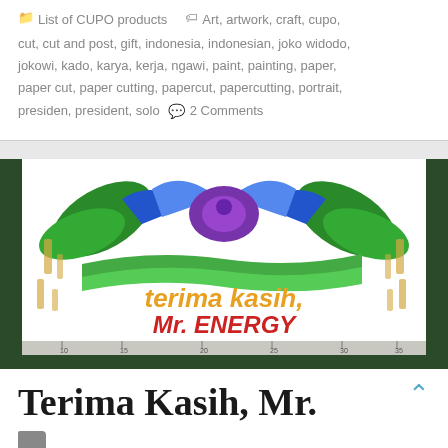List of CUPO products   Art, artwork, craft, cupo, cut, cut and post, gift, indonesia, indonesian, joko widodo, jokowi, kado, karya, kerja, ngawi, paint, painting, paper, paper cut, paper cutting, papercut, papercutting, portrait, presiden, president, solo   2 Comments
[Figure (photo): Paper cut artwork showing colorful decorative design with text 'terima kasih, Mr. ENERGY' in orange/yellow and red letters, mounted on white paper, photographed on a dark green cutting mat with a ruler at the bottom.]
Terima Kasih, Mr.